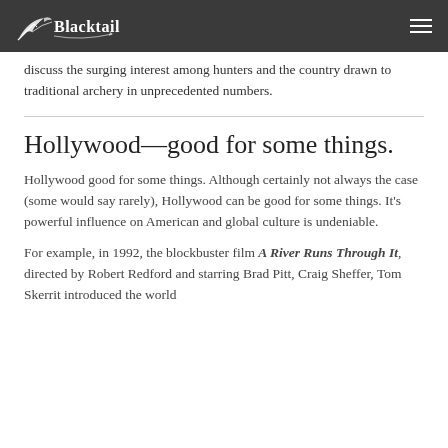Blacktail
discuss the surging interest among hunters and the country drawn to traditional archery in unprecedented numbers.
Hollywood—good for some things.
Hollywood good for some things. Although certainly not always the case (some would say rarely), Hollywood can be good for some things. It's powerful influence on American and global culture is undeniable.
For example, in 1992, the blockbuster film A River Runs Through It, directed by Robert Redford and starring Brad Pitt, Craig Sheffer, Tom Skerrit introduced the world